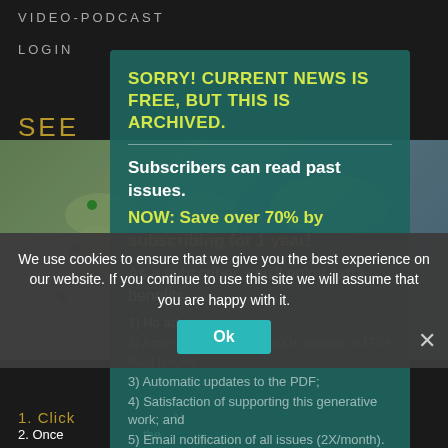VIDEO-PODCAST
LOGIN
SEE
[Figure (map): World map background with location dots (green and blue pins)]
SORRY! CURRENT NEWS IS FREE, BUT THIS IS ARCHIVED.
Subscribers can read past issues.
NOW: Save over 70% by subscribing for 1 year!
As a subscriber, you’ll enjoy extra benefits:
1) No ads or popups;
2) Access to Archive of 9500+ articles in 175+ Past Issues;
3) Automatic updates to the PDF;
4) Satisfaction of supporting this generative work; and
5) Email notification of all issues (2X/month). And More!
We use cookies to ensure that we give you the best experience on our website. If you continue to use this site we will assume that you are happy with it.
Ok
1. Click
2. Once